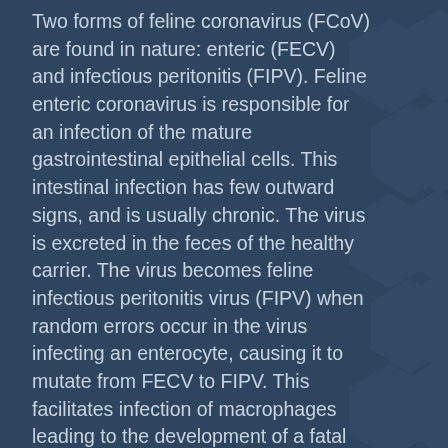Two forms of feline coronavirus (FCoV) are found in nature: enteric (FECV) and infectious peritonitis (FIPV). Feline enteric coronavirus is responsible for an infection of the mature gastrointestinal epithelial cells. This intestinal infection has few outward signs, and is usually chronic. The virus is excreted in the feces of the healthy carrier. The virus becomes feline infectious peritonitis virus (FIPV) when random errors occur in the virus infecting an enterocyte, causing it to mutate from FECV to FIPV. This facilitates infection of macrophages leading to the development of a fatal granulomatous vasculitis, or feline infectious peritonitis (FIP).